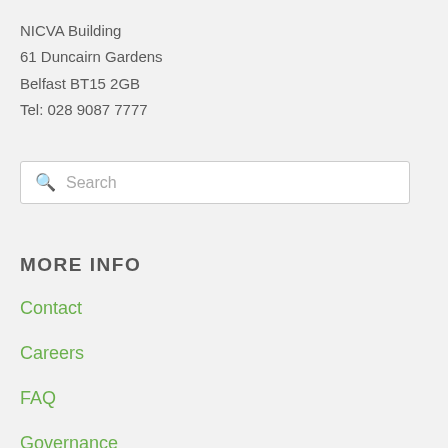NICVA Building
61 Duncairn Gardens
Belfast BT15 2GB
Tel: 028 9087 7777
Search
MORE INFO
Contact
Careers
FAQ
Governance